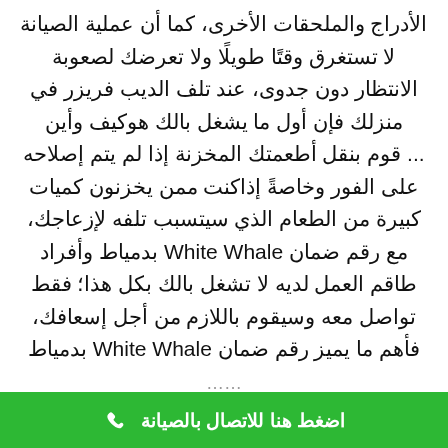الأدراج والملحقات الأخرى، كما أن عملية الصيانة لا تستغرق وقتًا طويلًا ولا تعرضك لصعوبة الانتظار دون جدوى، عند تلف الديب فريزر في منزلك فإن أول ما يشغل بالك هوكيف وأين ... قوم بنقل أطعمتك المخزنة إذا لم يتم إصلاحه على الفور وخاصةً إذاكنت ممن يخزنون كميات كبيرة من الطعام الذي سيتسبب تلفه لإزعاجك، مع رقم ضمان White Whale بدمياط وأفراد طاقم العمل لديه لا تشغل بالك بكل هذا؛ فقط تواصل معه وسيقوم باللازم من أجل إسعافك، فأهم ما يميز رقم ضمان White Whale بدمياط
اضغط هنا للاتصال بالصيانة